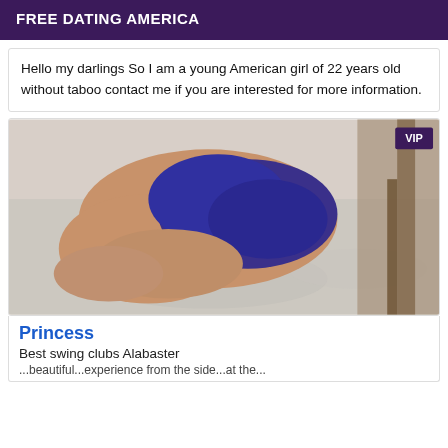FREE DATING AMERICA
Hello my darlings So I am a young American girl of 22 years old without taboo contact me if you are interested for more information.
[Figure (photo): Photo of a person lying on a bed wearing blue clothing, VIP badge in top right corner]
Princess
Best swing clubs Alabaster
...beautiful...experience from the side...at the...